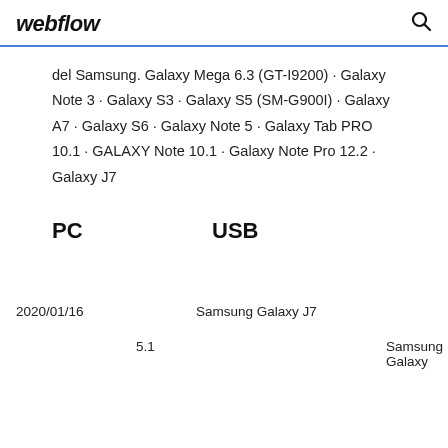webflow
del Samsung. Galaxy Mega 6.3 (GT-I9200) · Galaxy Note 3 · Galaxy S3 · Galaxy S5 (SM-G900I) · Galaxy A7 · Galaxy S6 · Galaxy Note 5 · Galaxy Tab PRO 10.1 · GALAXY Note 10.1 · Galaxy Note Pro 12.2 · Galaxy J7
PC    USB
2020/01/16    Samsung Galaxy J7
5.1    Samsung Galaxy